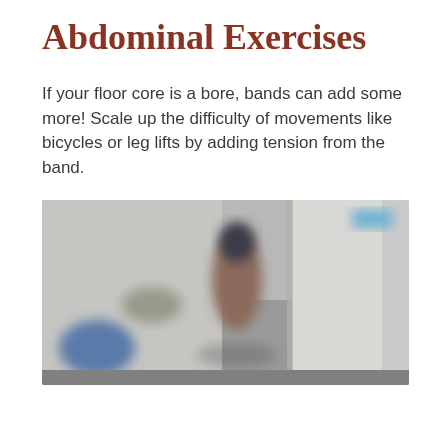Abdominal Exercises
If your floor core is a bore, bands can add some more! Scale up the difficulty of movements like bicycles or leg lifts by adding tension from the band.
[Figure (photo): A blurry photograph of a gym or exercise room interior, showing equipment and a person exercising, with muted blue, gray, and beige tones.]